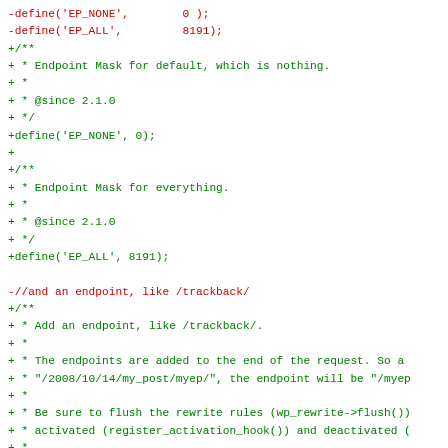[Figure (screenshot): A code diff view showing removed lines in red and added lines in green. The diff shows PHP define statements for EP_NONE and EP_ALL with added PHPDoc comments, and a removed comment replaced by a full PHPDoc block for an add_endpoint function.]